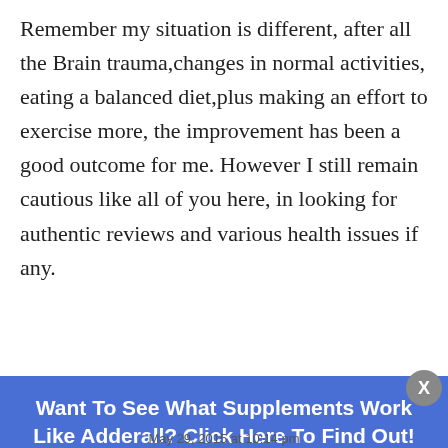Remember my situation is different, after all the Brain trauma,changes in normal activities, eating a balanced diet,plus making an effort to exercise more, the improvement has been a good outcome for me. However I still remain cautious like all of you here, in looking for authentic reviews and various health issues if any.
Reply
Want To See What Supplements Work Like Adderall? Click Here To Find Out!
May 29, 2015 at 10:14 pm